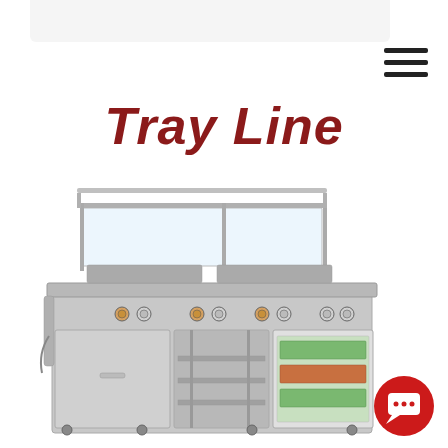Tray Line
[Figure (photo): A commercial stainless steel tray line serving unit with sneeze guards, multiple heated wells with control knobs, enclosed base cabinets with doors, a rack-style open compartment in the middle, and a refrigerated display case on the right side showing food items. The unit is on wheels.]